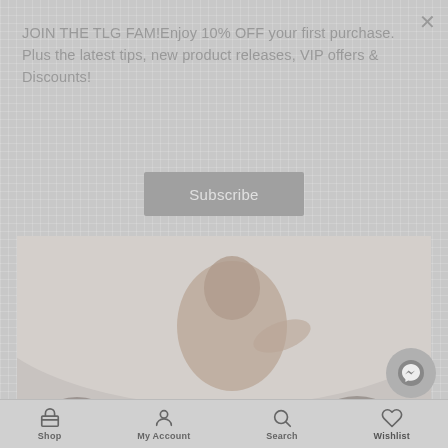JOIN THE TLG FAM!Enjoy 10% OFF your first purchase. Plus the latest tips, new product releases, VIP offers & Discounts!
Subscribe
[Figure (photo): Photo of a person (athlete/performer) surrounded by a crowd, rendered in muted grey tones with overlay popup.]
Shop   My Account   Search   Wishlist